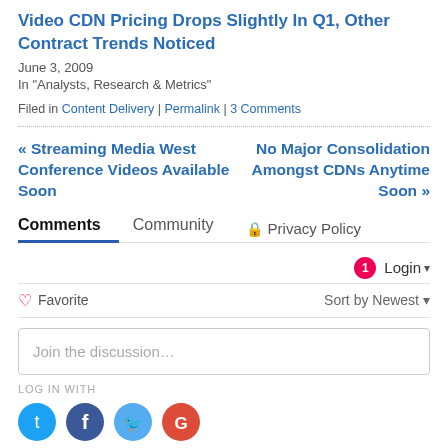Video CDN Pricing Drops Slightly In Q1, Other Contract Trends Noticed
June 3, 2009
In "Analysts, Research & Metrics"
Filed in Content Delivery | Permalink | 3 Comments
« Streaming Media West Conference Videos Available Soon
No Major Consolidation Amongst CDNs Anytime Soon »
Comments
Community
Privacy Policy
1  Login ▾
♡ Favorite  Sort by Newest ▾
Join the discussion...
LOG IN WITH
[Figure (other): Social login icons: Twitter, Facebook, Twitter(bird), Google]